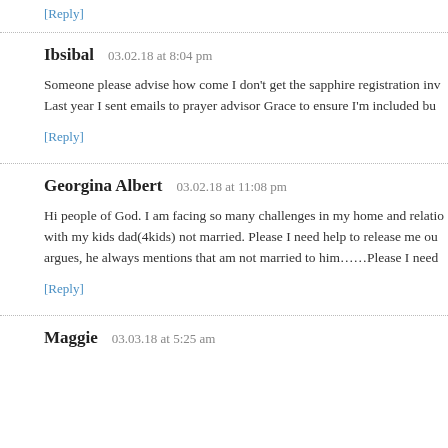[Reply]
Ibsibal   03.02.18 at 8:04 pm
Someone please advise how come I don't get the sapphire registration inv... Last year I sent emails to prayer advisor Grace to ensure I'm included bu...
[Reply]
Georgina Albert   03.02.18 at 11:08 pm
Hi people of God. I am facing so many challenges in my home and relatio... with my kids dad(4kids) not married. Please I need help to release me ou... argues, he always mentions that am not married to him……Please I need...
[Reply]
Maggie   03.03.18 at 5:25 am